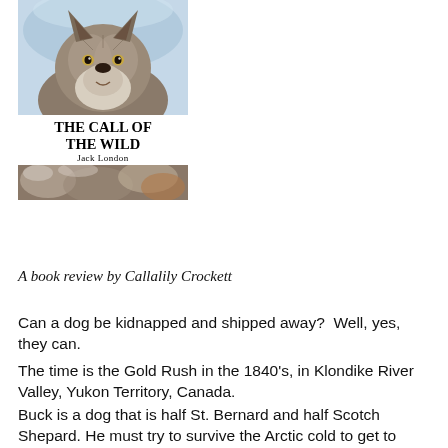[Figure (illustration): Book cover of 'The Call of the Wild' by Jack London. Top portion shows a wolf/dog close-up photograph in snowy blue-grey tones. Middle shows the title text 'THE CALL OF THE WILD' and 'JACK LONDON'. Bottom shows a partial wolf/animal photograph.]
A book review by Callalily Crockett
Can a dog be kidnapped and shipped away?  Well, yes, they can.
The time is the Gold Rush in the 1840's, in Klondike River Valley, Yukon Territory, Canada.
Buck is a dog that is half St. Bernard and half Scotch Shepard. He must try to survive the Arctic cold to get to Klondike before the weather takes their lives. It's up to Buck